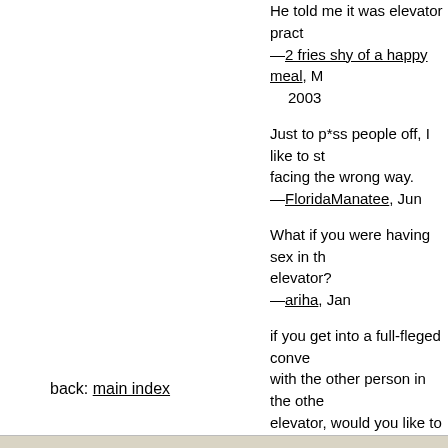He told me it was elevator pract —2 fries shy of a happy meal, M 2003
Just to p*ss people off, I like to st facing the wrong way. —FloridaManatee, Jun
What if you were having sex in th elevator? —ariha, Jan
if you get into a full-fleged conve with the other person in the othe elevator, would you like to part, i other sense you would forget wh you were supposed to get off!! —sridhar236, Feb
[annotate]
back: main index